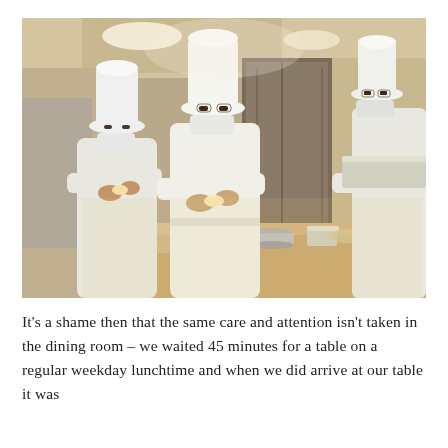[Figure (photo): Three chefs in white uniforms and tall white toques, wearing face masks, working in a professional kitchen around a wooden preparation counter. They appear to be preparing dumplings or pastry items. The kitchen has warm lighting, stainless steel equipment, and a large dark door in the background.]
It's a shame then that the same care and attention isn't taken in the dining room – we waited 45 minutes for a table on a regular weekday lunchtime and when we did arrive at our table it was